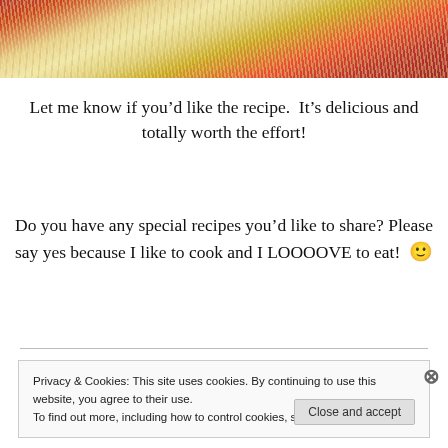[Figure (photo): Close-up photo of spaghetti with meatballs in tomato sauce]
Let me know if you’d like the recipe.  It’s delicious and totally worth the effort!
Do you have any special recipes you’d like to share? Please say yes because I like to cook and I LOOOOVE to eat!  🙂
Privacy & Cookies: This site uses cookies. By continuing to use this website, you agree to their use.
To find out more, including how to control cookies, see here: Cookie Policy
Close and accept